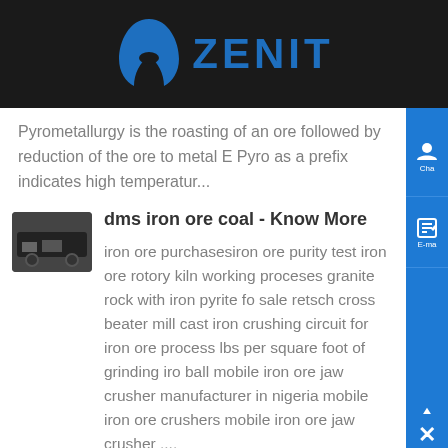ZENIT
Pyrometallurgy is the roasting of an ore followed by reduction of the ore to metal E Pyro as a prefix indicates high temperatur...
dms iron ore coal - Know More
iron ore purchasesiron ore purity test iron ore rotory kiln working proceses granite rock with iron pyrite fo sale retsch cross beater mill cast iron crushing circuit for iron ore process lbs per square foot of grinding iro ball mobile iron ore jaw crusher manufacturer in nigeria mobile iron ore crushers mobile iron ore jaw crusher ....
iron ore purchasesiron ore purity test -